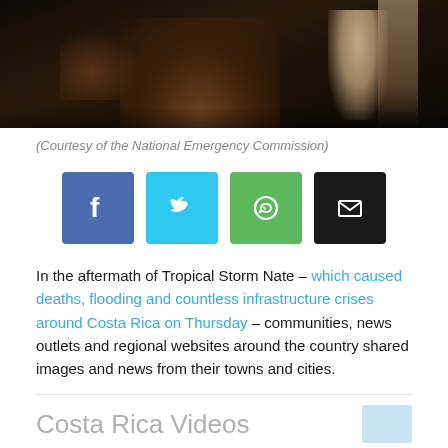[Figure (photo): Dark nighttime photo showing figures near ground, aftermath of Tropical Storm Nate]
(Courtesy of the National Emergency Commission)
[Figure (infographic): Social media share buttons: Facebook, Twitter, WhatsApp, Email]
In the aftermath of Tropical Storm Nate – which caused deaths, flooding and countless infrastructure crises around Costa Rica on Thursday – communities, news outlets and regional websites around the country shared images and news from their towns and cities.
Costa Rica Videos